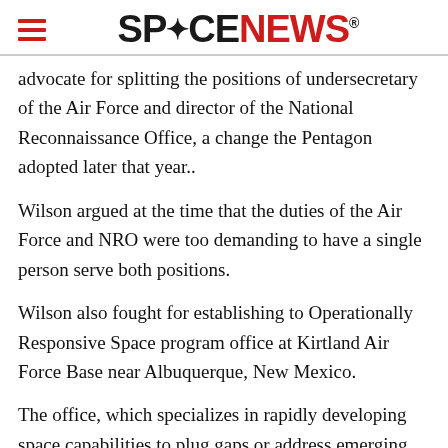SPACENEWS
advocate for splitting the positions of undersecretary of the Air Force and director of the National Reconnaissance Office, a change the Pentagon adopted later that year..
Wilson argued at the time that the duties of the Air Force and NRO were too demanding to have a single person serve both positions.
Wilson also fought for establishing to Operationally Responsive Space program office at Kirtland Air Force Base near Albuquerque, New Mexico.
The office, which specializes in rapidly developing space capabilities to plug gaps or address emerging military needs, was established in 2007.